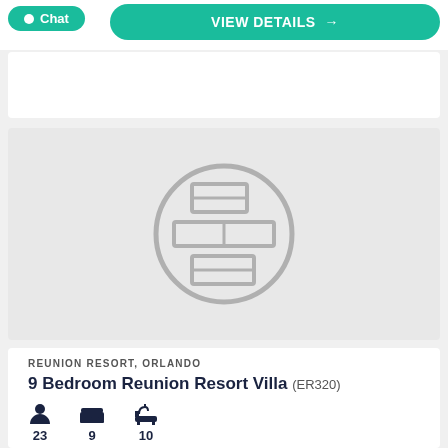Chat | VIEW DETAILS →
[Figure (illustration): Placeholder image with a floor plan icon inside a circle on a light gray background]
REUNION RESORT, ORLANDO
9 Bedroom Reunion Resort Villa (ER320)
23 guests | 9 bedrooms | 10 bathrooms